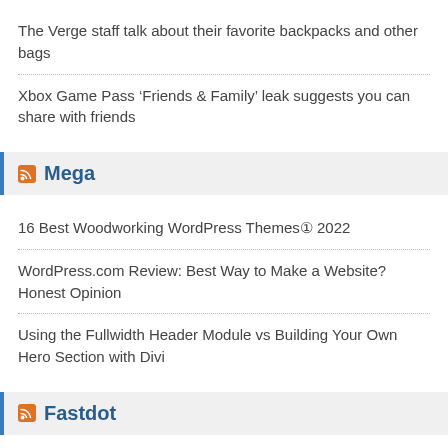The Verge staff talk about their favorite backpacks and other bags
Xbox Game Pass ‘Friends & Family’ leak suggests you can share with friends
Mega
16 Best Woodworking WordPress Themes① 2022
WordPress.com Review: Best Way to Make a Website? Honest Opinion
Using the Fullwidth Header Module vs Building Your Own Hero Section with Divi
Fastdot